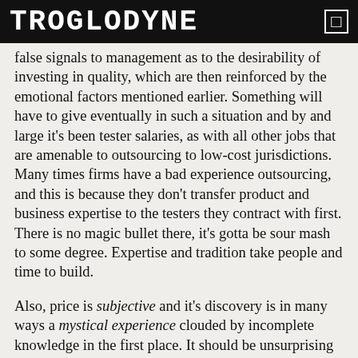TROGLODYNE
false signals to management as to the desirability of investing in quality, which are then reinforced by the emotional factors mentioned earlier. Something will have to give eventually in such a situation and by and large it's been tester salaries, as with all other jobs that are amenable to outsourcing to low-cost jurisdictions. Many times firms have a bad experience outsourcing, and this is because they don't transfer product and business expertise to the testers they contract with first. There is no magic bullet there, it's gotta be sour mash to some degree. Expertise and tradition take people and time to build.
Also, price is subjective and it's discovery is in many ways a mystical experience clouded by incomplete knowledge in the first place. It should be unsurprising that prices are subjective given quality itself is an ordinal and not cardinal concept. The primary means by which price is discovered is customer evaluation of a